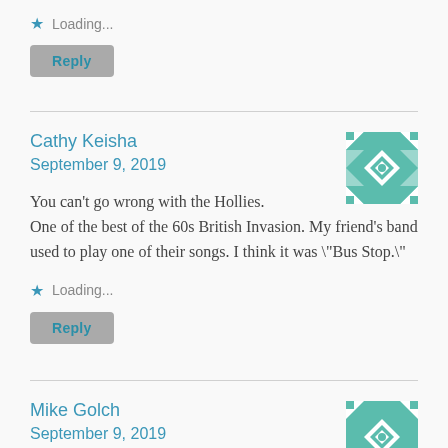Loading...
Reply
Cathy Keisha
September 9, 2019
You can't go wrong with the Hollies. One of the best of the 60s British Invasion. My friend's band used to play one of their songs. I think it was "Bus Stop."
Loading...
Reply
Mike Golch
September 9, 2019